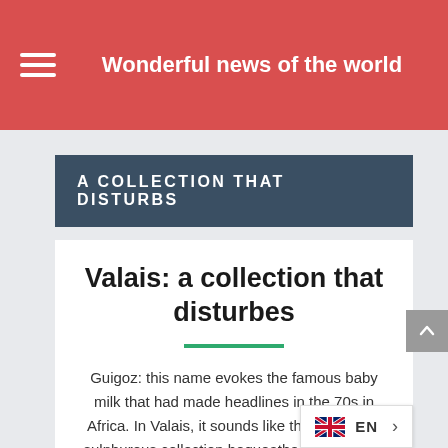Wonderful news of the world
A COLLECTION THAT DISTURBS
Valais: a collection that disturbes
Guigoz: this name evokes the famous baby milk that had made headlines in the 70s in Africa. In Valais, it sounds like the name of a sulphurous collection bequeathed in 1968, by will to the Cantonal Museums